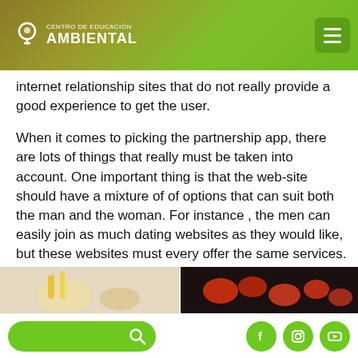Centro de Educación Ambiental
internet relationship sites that do not really provide a good experience to get the user.
When it comes to picking the partnership app, there are lots of things that really must be taken into account. One important thing is that the web-site should have a mixture of of options that can suit both the man and the woman. For instance , the men can easily join as much dating websites as they would like, but these websites must every offer the same services. The person should be able to find the romantic app that is suitable for his needs and interests. In the same way, women can easily select an app that best fits her lifestyle and personal requirements.
[Figure (photo): Two photos side by side partially visible at the bottom: left shows a light colored image with what appears to be yellow and white objects, right shows red/orange food items on a dark background.]
Search bar and social media icons (Facebook, Instagram, YouTube)